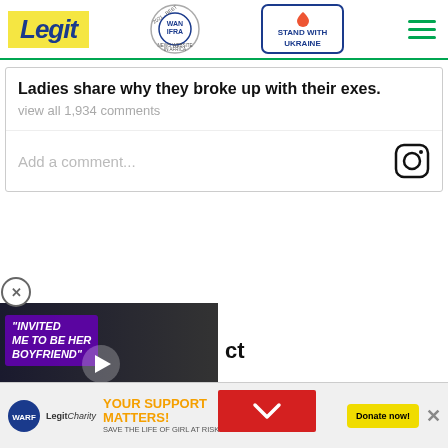Legit — WAN IFRA Best News Website in Africa 2021 — Stand With Ukraine
Ladies share why they broke up with their exes.
view all 1,934 comments
Add a comment...
[Figure (screenshot): Video thumbnail showing a couple with text overlay: "INVITED ME TO BE HER BOYFRIEND"]
YOUR SUPPORT MATTERS! SAVE THE LIFE OF GIRL AT RISK